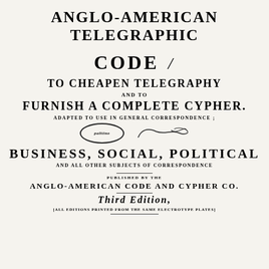ANGLO-AMERICAN TELEGRAPHIC CODE
TO CHEAPEN TELEGRAPHY
AND TO
FURNISH A COMPLETE CYPHER.
ADAPTED TO USE IN GENERAL CORRESPONDENCE;
BUSINESS, SOCIAL, POLITICAL
AND ALL OTHER SUBJECTS OF CORRESPONDENCE
PUBLISHED BY THE
ANGLO-AMERICAN CODE AND CYPHER CO.
THIRD EDITION,
[ALL EDITIONS PRINTED FROM THE SAME ELECTROTYPE PLATES]